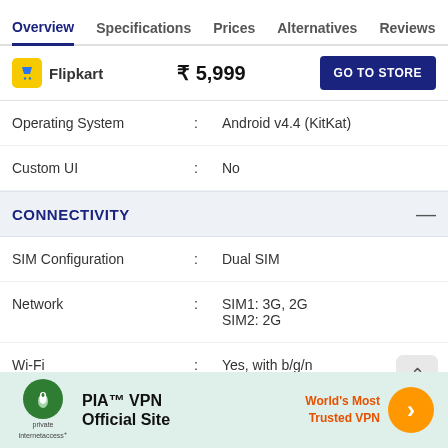Overview  Specifications  Prices  Alternatives  Reviews
Flipkart  ₹ 5,999  GO TO STORE
| Specification |  | Value |
| --- | --- | --- |
| Operating System | : | Android v4.4 (KitKat) |
| Custom UI | : | No |
CONNECTIVITY
| Specification |  | Value |
| --- | --- | --- |
| SIM Configuration | : | Dual SIM |
| Network | : | SIM1: 3G, 2G
SIM2: 2G |
| Wi-Fi | : | Yes, with b/g/n |
| Bluetooth | : | Bluetooth with A2DP |
| USB | : | microUSB 2.0 |
[Figure (screenshot): PIA VPN advertisement banner — World's Most Trusted VPN]